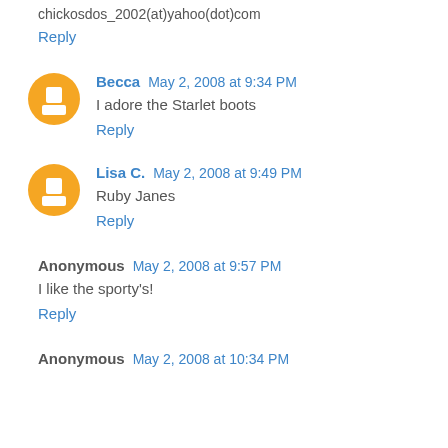chickosdos_2002(at)yahoo(dot)com
Reply
Becca  May 2, 2008 at 9:34 PM
I adore the Starlet boots
Reply
Lisa C.  May 2, 2008 at 9:49 PM
Ruby Janes
Reply
Anonymous  May 2, 2008 at 9:57 PM
I like the sporty's!
Reply
Anonymous  May 2, 2008 at 10:34 PM